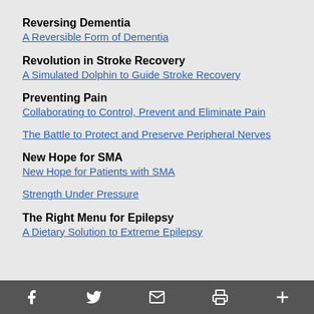Reversing Dementia
A Reversible Form of Dementia
Revolution in Stroke Recovery
A Simulated Dolphin to Guide Stroke Recovery
Preventing Pain
Collaborating to Control, Prevent and Eliminate Pain
The Battle to Protect and Preserve Peripheral Nerves
New Hope for SMA
New Hope for Patients with SMA
Strength Under Pressure
The Right Menu for Epilepsy
A Dietary Solution to Extreme Epilepsy
Facebook Twitter Email Print More